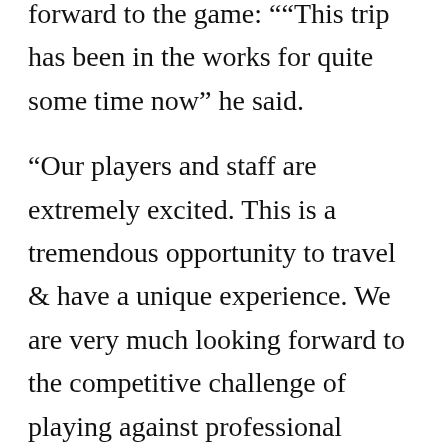forward to the game: ““This trip has been in the works for quite some time now” he said.
“Our players and staff are extremely excited. This is a tremendous opportunity to travel & have a unique experience. We are very much looking forward to the competitive challenge of playing against professional teams.
“We have a very young team that will benefit greatly from the unique opportunity they have to bond with each other both on & off the basketball court. It is a great chance for our players to grow not only individually but